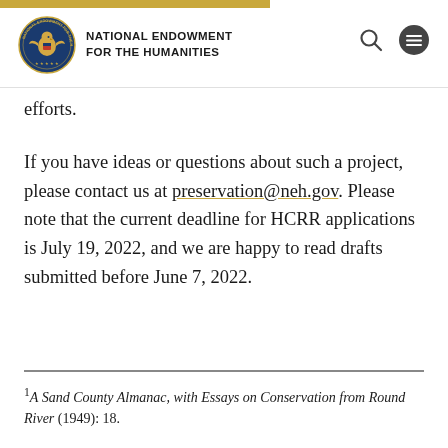NATIONAL ENDOWMENT FOR THE HUMANITIES
efforts.
If you have ideas or questions about such a project, please contact us at preservation@neh.gov. Please note that the current deadline for HCRR applications is July 19, 2022, and we are happy to read drafts submitted before June 7, 2022.
1A Sand County Almanac, with Essays on Conservation from Round River (1949): 18.